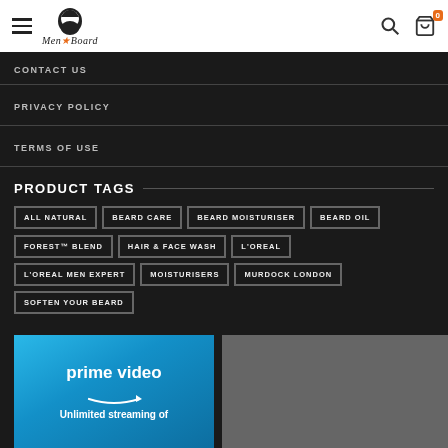Men & Beard — navigation header with logo, hamburger menu, search icon, cart (0)
CONTACT US
PRIVACY POLICY
TERMS OF USE
PRODUCT TAGS
ALL NATURAL
BEARD CARE
BEARD MOISTURISER
BEARD OIL
FOREST™ BLEND
HAIR & FACE WASH
L'OREAL
L'OREAL MEN EXPERT
MOISTURISERS
MURDOCK LONDON
SOFTEN YOUR BEARD
[Figure (screenshot): Amazon Prime Video advertisement banner showing 'prime video' text with Amazon arrow logo and 'Unlimited streaming of' text on blue gradient background]